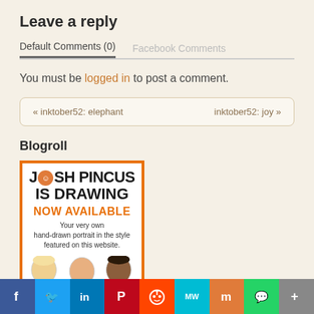Leave a reply
Default Comments (0)   Facebook Comments
You must be logged in to post a comment.
« inktober52: elephant    inktober52: joy »
Blogroll
[Figure (illustration): Josh Pincus is Drawing - Now Available advertisement banner with portrait illustrations]
Facebook Twitter LinkedIn Pinterest Reddit MeWe Mix WhatsApp More social sharing buttons